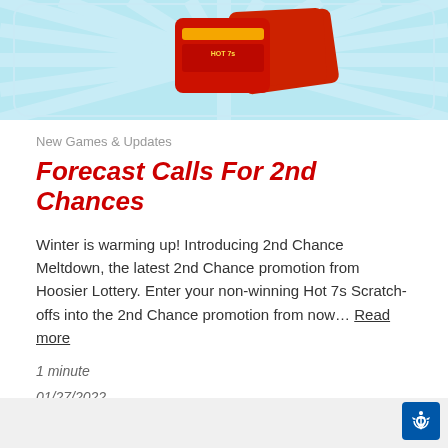[Figure (illustration): Hoosier Lottery scratch-off cards (Hot 7s) displayed on a light blue background with white radiating rays pattern]
New Games & Updates
Forecast Calls For 2nd Chances
Winter is warming up! Introducing 2nd Chance Meltdown, the latest 2nd Chance promotion from Hoosier Lottery. Enter your non-winning Hot 7s Scratch-offs into the 2nd Chance promotion from now… Read more
1 minute
01/27/2022